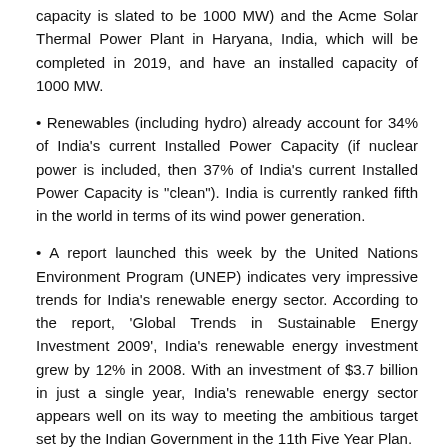capacity is slated to be 1000 MW) and the Acme Solar Thermal Power Plant in Haryana, India, which will be completed in 2019, and have an installed capacity of 1000 MW.
Renewables (including hydro) already account for 34% of India's current Installed Power Capacity (if nuclear power is included, then 37% of India's current Installed Power Capacity is "clean"). India is currently ranked fifth in the world in terms of its wind power generation.
A report launched this week by the United Nations Environment Program (UNEP) indicates very impressive trends for India's renewable energy sector. According to the report, 'Global Trends in Sustainable Energy Investment 2009', India's renewable energy investment grew by 12% in 2008. With an investment of $3.7 billion in just a single year, India's renewable energy sector appears well on its way to meeting the ambitious target set by the Indian Government in the 11th Five Year Plan.
Indian Solar Investment Signals Greater World Bank Support for Renewable Energy. The first commercial...